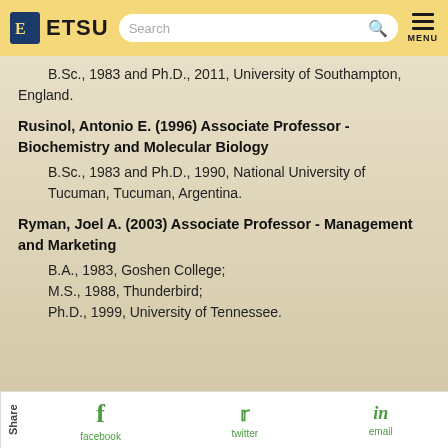ETSU
B.Sc., 1983 and Ph.D., 2011, University of Southampton, England.
Rusinol, Antonio E. (1996) Associate Professor - Biochemistry and Molecular Biology
B.Sc., 1983 and Ph.D., 1990, National University of Tucuman, Tucuman, Argentina.
Ryman, Joel A. (2003) Associate Professor - Management and Marketing
B.A., 1983, Goshen College; M.S., 1988, Thunderbird; Ph.D., 1999, University of Tennessee.
Share | facebook | twitter | email